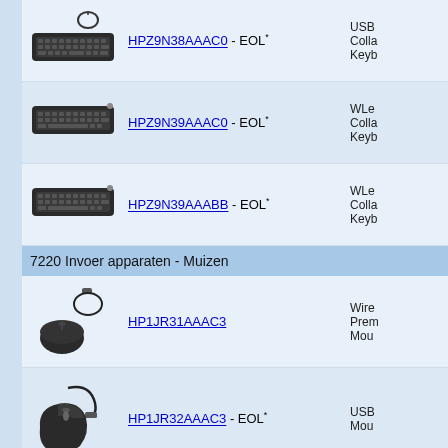[Figure (photo): HP USB wired keyboard with cable coiled on top, dark color]
HPZ9N38AAAC0 - EOL* USB Colla Keyb
[Figure (photo): HP wireless flat keyboard, dark color]
HPZ9N39AAAC0 - EOL* WLe Colla Keyb
[Figure (photo): HP wireless flat keyboard, dark color]
HPZ9N39AAABB - EOL* WLe Colla Keyb
7220 Invoer apparaten - Muizen
[Figure (photo): HP wired mouse with USB cable, dark color, premium]
HP1JR31AAAC3 Wire Prem Mou
[Figure (photo): HP USB wired mouse with long cable, dark color]
HP1JR32AAAC3 - EOL* USB Mou
[Figure (photo): HP remote or presenter device]
HP2CE39AA Pres